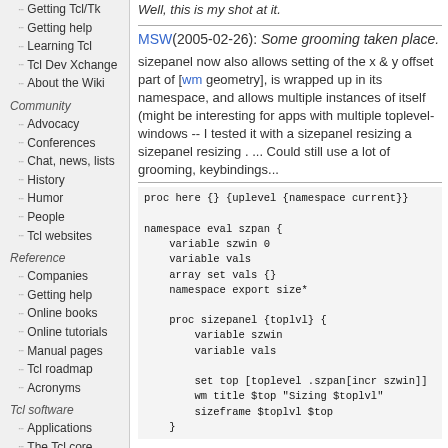Getting Tcl/Tk
Getting help
Learning Tcl
Tcl Dev Xchange
About the Wiki
Community
Advocacy
Conferences
Chat, news, lists
History
Humor
People
Tcl websites
Reference
Companies
Getting help
Online books
Online tutorials
Manual pages
Tcl roadmap
Acronyms
Tcl software
Applications
The Tcl core
Well, this is my shot at it.
MSW(2005-02-26): Some grooming taken place.
sizepanel now also allows setting of the x & y offset part of [wm geometry], is wrapped up in its namespace, and allows multiple instances of itself (might be interesting for apps with multiple toplevel-windows -- I tested it with a sizepanel resizing a sizepanel resizing . ... Could still use a lot of grooming, keybindings...
proc here {} {uplevel {namespace current}}

namespace eval szpan {
    variable szwin 0
    variable vals
    array set vals {}
    namespace export size*

    proc sizepanel {toplvl} {
        variable szwin
        variable vals

        set top [toplevel .szpan[incr szwin]]
        wm title $top "Sizing $toplvl"
        sizeframe $toplvl $top
    }